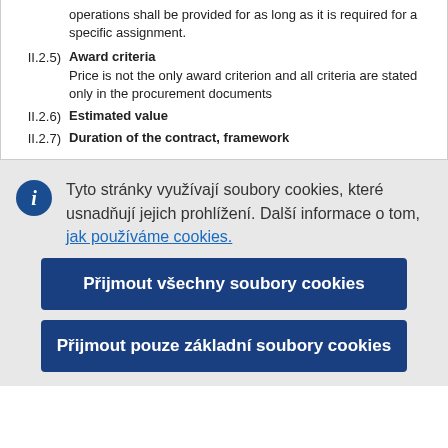operations shall be provided for as long as it is required for a specific assignment.
II.2.5) Award criteria
Price is not the only award criterion and all criteria are stated only in the procurement documents
II.2.6) Estimated value
II.2.7) Duration of the contract, framework
Tyto stránky využívají soubory cookies, které usnadňují jejich prohlížení. Další informace o tom, jak používáme cookies.
Přijmout všechny soubory cookies
Přijmout pouze základní soubory cookies